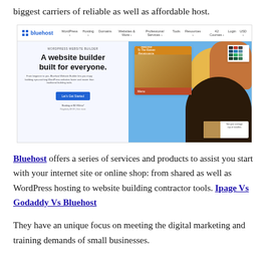biggest carriers of reliable as well as affordable host.
[Figure (screenshot): Screenshot of the Bluehost website homepage showing a website builder page with the headline 'A website builder built for everyone.' and a restaurant website preview on the right side with food images.]
Bluehost offers a series of services and products to assist you start with your internet site or online shop: from shared as well as WordPress hosting to website building contractor tools. Ipage Vs Godaddy Vs Bluehost
They have an unique focus on meeting the digital marketing and training demands of small businesses.